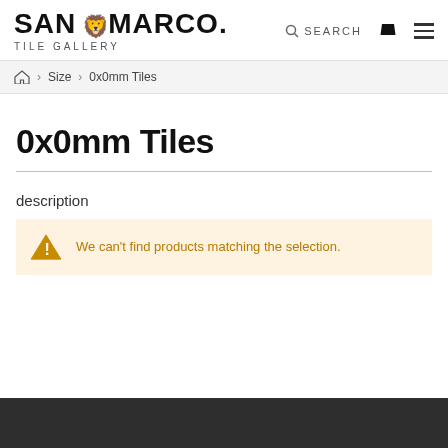SAN MARCO. TILE GALLERY — header with search, bag, and menu icons
Home > Size > 0x0mm Tiles
0x0mm Tiles
description
We can't find products matching the selection.